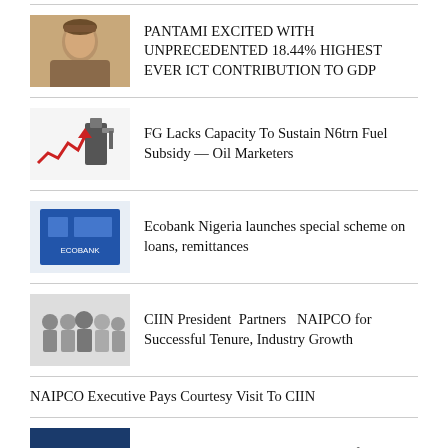PANTAMI EXCITED WITH UNPRECEDENTED 18.44% HIGHEST EVER ICT CONTRIBUTION TO GDP
FG Lacks Capacity To Sustain N6trn Fuel Subsidy — Oil Marketers
Ecobank Nigeria launches special scheme on loans, remittances
CIIN President  Partners   NAIPCO for Successful Tenure, Industry Growth
NAIPCO Executive Pays Courtesy Visit To CIIN
CitiTrust Holdings  Becomes  Part of FMDQ Exchange
Anchor Insurance grows GPI by over 54% to